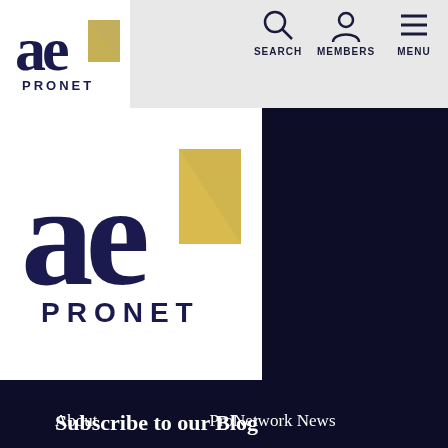[Figure (logo): AE ProNet logo - small version in header, dark blue 'ae' letters with gold geometric shape and 'ProNet' text below]
[Figure (logo): AE ProNet logo - large version on white background overlay, dark blue 'ae' letters with gold geometric shape and 'ProNet' text below]
About
ProNetwork News
Resources
Guest Essays
Blog
Contract Concerns
Contact
Typical Coverages
Find a Broker
FAQ
Videos
Make a Payment
Subscribe to our Blog